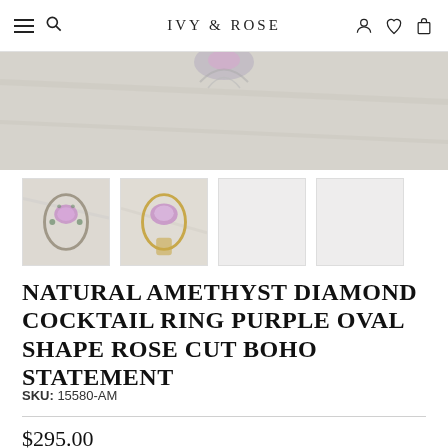IVY & ROSE
[Figure (photo): Close-up top portion of an amethyst ring with purple oval gemstone on marble background, cropped at top]
[Figure (photo): Thumbnail 1: Natural amethyst diamond cocktail ring with purple stone in silver setting with green accent stones]
[Figure (photo): Thumbnail 2: Natural amethyst diamond cocktail ring with purple stone in gold setting]
[Figure (photo): Thumbnail 3: Empty/loading placeholder]
[Figure (photo): Thumbnail 4: Empty/loading placeholder]
NATURAL AMETHYST DIAMOND COCKTAIL RING PURPLE OVAL SHAPE ROSE CUT BOHO STATEMENT
SKU: 15580-AM
$295.00